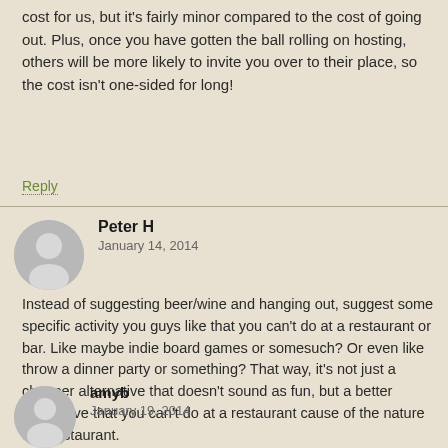cost for us, but it's fairly minor compared to the cost of going out. Plus, once you have gotten the ball rolling on hosting, others will be more likely to invite you over to their place, so the cost isn't one-sided for long!
Reply
Peter H
January 14, 2014
Instead of suggesting beer/wine and hanging out, suggest some specific activity you guys like that you can't do at a restaurant or bar. Like maybe indie board games or somesuch? Or even like throw a dinner party or something? That way, it's not just a cheaper alternative that doesn't sound as fun, but a better alternative that you can't do at a restaurant cause of the nature of a restaurant.
Reply
amyb
January 19, 2014
Peter, that's pretty much what we've come up